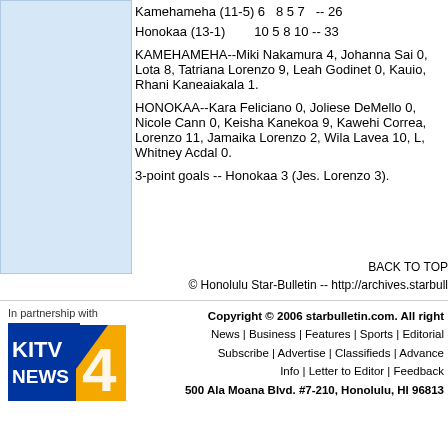Kamehameha (11-5) 6  8 5 7  -- 26
Honokaa (13-1)        10 5 8 10 -- 33
KAMEHAMEHA--Miki Nakamura 4, Johanna Sai 0, Lota 8, Tatriana Lorenzo 9, Leah Godinet 0, Kauio, Rhani Kaneaiakala 1.
HONOKAA--Kara Feliciano 0, Joliese DeMello 0, Nicole Cann 0, Keisha Kanekoa 9, Kawehi Correa, Lorenzo 11, Jamaika Lorenzo 2, Wila Lavea 10, L, Whitney Acdal 0.
3-point goals -- Honokaa 3 (Jes. Lorenzo 3).
BACK TO TOP
© Honolulu Star-Bulletin -- http://archives.starbull
In partnership with
[Figure (logo): KITV News 4 logo with blue and gold colors]
Copyright © 2006 starbulletin.com. All right
News | Business | Features | Sports | Editorial
Subscribe | Advertise | Classifieds | Advance
Info | Letter to Editor | Feedback
500 Ala Moana Blvd. #7-210, Honolulu, HI 96813